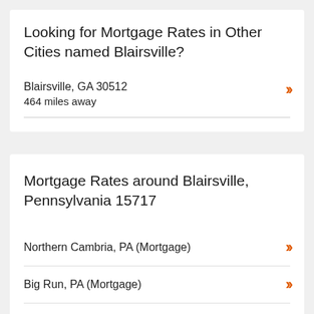Looking for Mortgage Rates in Other Cities named Blairsville?
Blairsville, GA 30512
464 miles away
Mortgage Rates around Blairsville, Pennsylvania 15717
Northern Cambria, PA (Mortgage)
Big Run, PA (Mortgage)
Black Lick, PA (Mortgage)